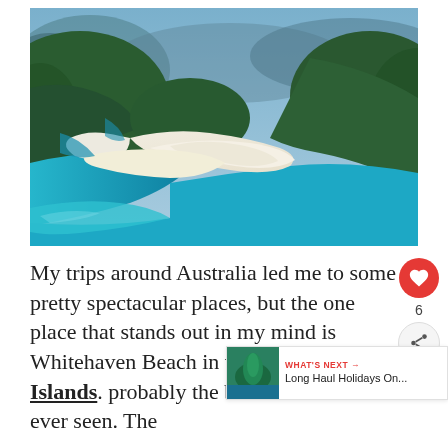[Figure (photo): Aerial photograph of Whitehaven Beach in the Whitsunday Islands, Australia, showing swirling white sand patterns, turquoise water, and green forested hills in the background under a blue sky.]
My trips around Australia led me to some pretty spectacular places, but the one place that stands out in my mind is Whitehaven Beach in the Whitsunday Islands. probably the best beach I have ever seen. The
[Figure (infographic): What's Next panel with red arrow label, thumbnail of green karst island, and text 'Long Haul Holidays On...']